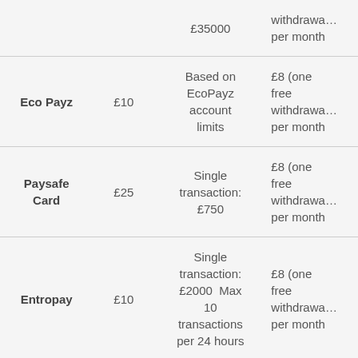| Method | Min | Max | Fee |
| --- | --- | --- | --- |
|  |  | £35000 | withdrawa... per month |
| Eco Payz | £10 | Based on EcoPayz account limits | £8 (one free withdrawa... per month |
| Paysafe Card | £25 | Single transaction: £750 | £8 (one free withdrawa... per month |
| Entropay | £10 | Single transaction: £2000 Max 10 transactions per 24 hours | £8 (one free withdrawa... per month |
| Trustly Bank Transfer | £10 | 24 hours: £35000 | £8 (one free withdrawa... per month |